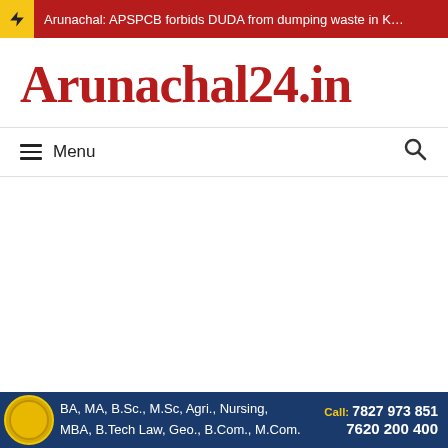Arunachal: APSPCB forbids DUDA from dumping waste in K…
Arunachal24.in
☰ Menu
[Figure (other): Advertisement banner for an educational institution offering BA, MA, B.Sc., M.Sc, Agri., Nursing, MBA, B.Tech Law, Geo., B.Com., M.Com. with contact numbers Call: 7827 973 851 and 7620 200 400]